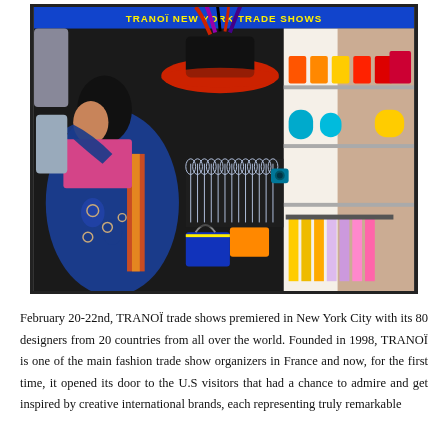[Figure (photo): A colorful fashion trade show scene with a woman in traditional Indian dress (blue sari with floral print) looking at merchandise. The display includes a dramatic red hat with feathers, rows of champagne glasses, colorful accessories, bags, and a rack of brightly colored garments (yellow, pink, purple). Various items in orange, red, teal, and yellow are displayed on shelves. A blue banner with yellow text appears at the top of the image.]
February 20-22nd, TRANOÏ trade shows premiered in New York City with its 80 designers from 20 countries from all over the world. Founded in 1998, TRANOÏ is one of the main fashion trade show organizers in France and now, for the first time, it opened its door to the U.S visitors that had a chance to admire and get inspired by creative international brands, each representing truly remarkable